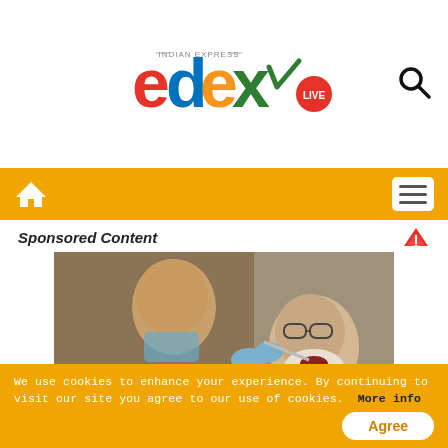[Figure (logo): EdexLive logo with colorful letters and 'LIVE' badge, Indian Express branding]
[Figure (illustration): Search/magnifying glass icon in top right corner]
Navigation bar with home icon and hamburger menu on orange background
Sponsored Content
[Figure (photo): A dentist (bald man in white coat, wearing blue gloves and mask) performing dental work on an elderly patient (older man with white beard wearing glasses)]
The Cost of Dental Implant in United States Might Surprise You
We use cookies to enhance your experience. By continuing to visit our site you agree to our use of cookies.  More info
Agree